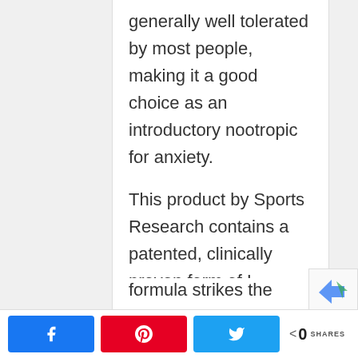generally well tolerated by most people, making it a good choice as an introductory nootropic for anxiety.
This product by Sports Research contains a patented, clinically proven form of L-Theanine called Suntheanine. This special formula strikes the balance...
0 SHARES — Facebook, Pinterest, Twitter share buttons